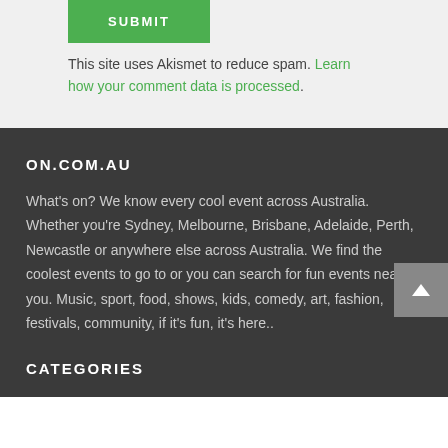SUBMIT
This site uses Akismet to reduce spam. Learn how your comment data is processed.
ON.COM.AU
What's on? We know every cool event across Australia. Whether you're Sydney, Melbourne, Brisbane, Adelaide, Perth, Newcastle or anywhere else across Australia. We find the coolest events to go to or you can search for fun events near you. Music, sport, food, shows, kids, comedy, art, fashion, festivals, community, if it's fun, it's here..
CATEGORIES